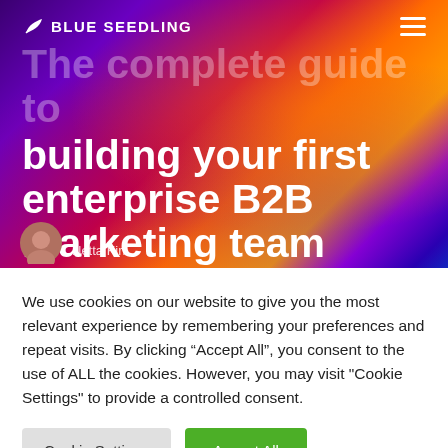[Figure (screenshot): Blue Seedling website hero section with colorful purple, orange, and red gradient background. Navigation bar with Blue Seedling logo and hamburger menu. Large white bold title text reading 'The complete guide to building your first enterprise B2B marketing team'. Author avatar partially visible at bottom.]
The complete guide to building your first enterprise B2B marketing team
We use cookies on our website to give you the most relevant experience by remembering your preferences and repeat visits. By clicking “Accept All”, you consent to the use of ALL the cookies. However, you may visit "Cookie Settings" to provide a controlled consent.
Cookie Settings
Accept All